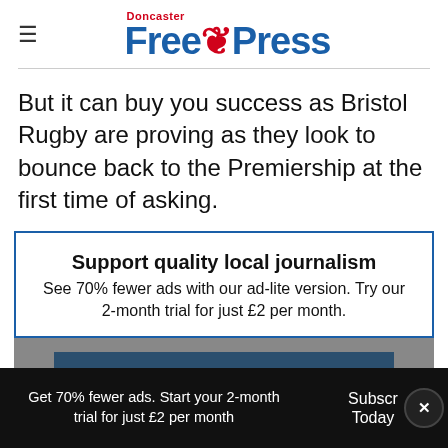Doncaster Free Press
But it can buy you success as Bristol Rugby are proving as they look to bounce back to the Premiership at the first time of asking.
Support quality local journalism
See 70% fewer ads with our ad-lite version. Try our 2-month trial for just £2 per month.
Subscribe today
Get 70% fewer ads. Start your 2-month trial for just £2 per month
Subscribe Today